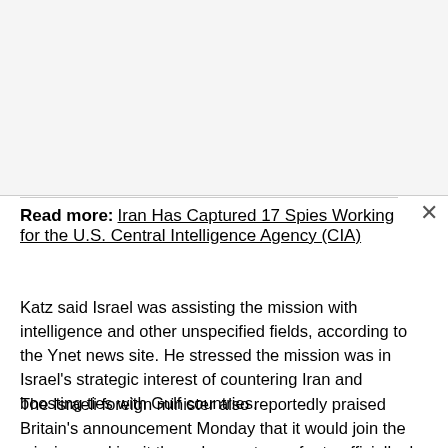Read more: Iran Has Captured 17 Spies Working for the U.S. Central Intelligence Agency (CIA)
Katz said Israel was assisting the mission with intelligence and other unspecified fields, according to the Ynet news site. He stressed the mission was in Israel's strategic interest of countering Iran and boosting ties with Gulf countries.
The Israeli foreign minister also reportedly praised Britain's announcement Monday that it would join the mission, making it the only country so far to officially do so.
Besides Britain, which already has warships on protection duty in the Gulf after a UK-flagged tanker was seized by Iran's Islamic Revolutionary Guard Corps, other European countries have refrained from joining the planned operation for fear it might harm their efforts to reach a negotiated settlement with